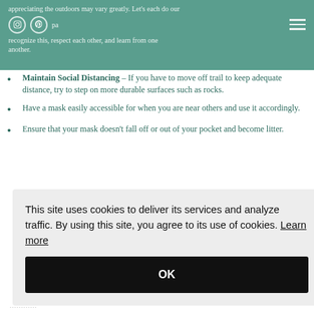appreciating the outdoors may vary greatly. Let's each do our part to recognize this, respect each other, and learn from one another.
Maintain Social Distancing – If you have to move off trail to keep adequate distance, try to step on more durable surfaces such as rocks.
Have a mask easily accessible for when you are near others and use it accordingly.
Ensure that your mask doesn't fall off or out of your pocket and become litter.
This site uses cookies to deliver its services and analyze traffic. By using this site, you agree to its use of cookies. Learn more
OK